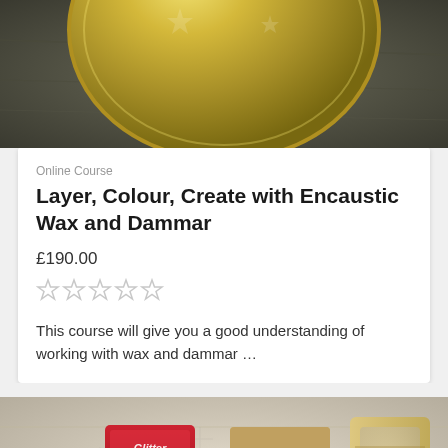[Figure (photo): Top portion of a gold metallic disc or bowl on a dark textured surface — cropped at top of card]
Online Course
Layer, Colour, Create with Encaustic Wax and Dammar
£190.00
[Figure (other): Five empty star rating icons]
This course will give you a good understanding of working with wax and dammar ...
[Figure (photo): Craft supplies including glitter tubes in a red package, paint tubes, brown paper bag, and a wooden frame on a light background]